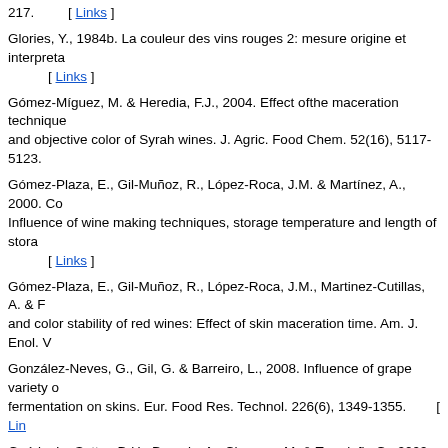217.    [ Links ]
Glories, Y., 1984b. La couleur des vins rouges 2: mesure origine et interpreta... [ Links ]
Gómez-Míguez, M. & Heredia, F.J., 2004. Effect ofthe maceration technique and objective color of Syrah wines. J. Agric. Food Chem. 52(16), 5117-5123.
Gómez-Plaza, E., Gil-Muñoz, R., López-Roca, J.M. & Martínez, A., 2000. Co Influence of wine making techniques, storage temperature and length of stora... [ Links ]
Gómez-Plaza, E., Gil-Muñoz, R., López-Roca, J.M., Martinez-Cutillas, A. & F and color stability of red wines: Effect of skin maceration time. Am. J. Enol. V
González-Neves, G., Gil, G. & Barreiro, L., 2008. Influence of grape variety o fermentation on skins. Eur. Food Res. Technol. 226(6), 1349-1355.    [ Lin
Guérin, L., Sutter, D.H., Demois, A., Chereau, M. & Trandafir, G., 2009. Dete enzyme preparations used in winemaking. Am. J. Enol. Vitic. 60(3), 322-331.
Hagerman, A.E., 2002. Tannin handbook. Department of Chemistry & Bioche
Hagerman, A.E. & Butler, L.G., 1978. Protein precipitation method for the qua 26(4), 809-812.    [ Links ]
Harbertson, J.F. & Spayd, S., 2006. Measuring phenolics in the winery. Am. J
Harbertson, J.F., Kennedy, J.A. & Adams, D.O., 2002. Tannins in skins and s berries during ripening. Am. J. Enol. Vitic. 53(1), 54-59.    [ Links ]